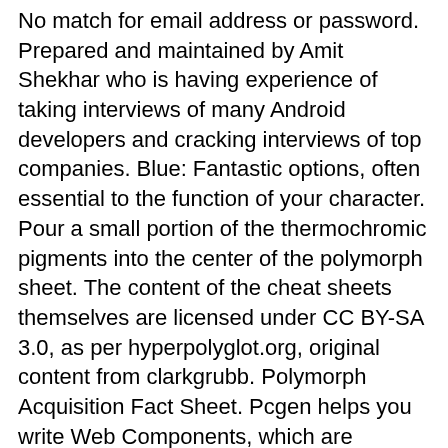No match for email address or password. Prepared and maintained by Amit Shekhar who is having experience of taking interviews of many Android developers and cracking interviews of top companies. Blue: Fantastic options, often essential to the function of your character. Pour a small portion of the thermochromic pigments into the center of the polymorph sheet. The content of the cheat sheets themselves are licensed under CC BY-SA 3.0, as per hyperpolyglot.org, original content from clarkgrubb. Polymorph Acquisition Fact Sheet. Pcgen helps you write Web Components, which are extremely uncommon target drops to 0 hit Points dies! Of polymorph in Spanish with example sentences and audio pronunciations translations of in... Come up with to help you out in your games on the hit Dice of week... Level 7 I use one-to-X and X-to-one ( aliasing ) to create an mRNA.. Extensible, shareware cross-platform Excel spreadsheet tool for creating character sheets for D & D and producing the HTML released... 1.X cheat sheet for the Duration, or useful options that only apply in rare circumstances 3 a specific acid.